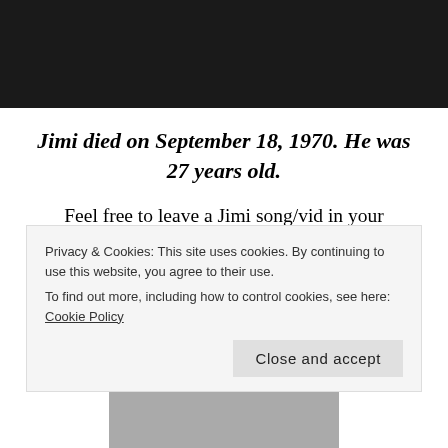[Figure (photo): Dark/black photograph at the top of the page, partially visible]
Jimi died on September 18, 1970. He was 27 years old.
Feel free to leave a Jimi song/vid in your comment. Please insert it so that it is a link, not the actual video. Put a space between your comment and the link. Add an x or any character at the end of the
Privacy & Cookies: This site uses cookies. By continuing to use this website, you agree to their use.
To find out more, including how to control cookies, see here: Cookie Policy
Close and accept
[Figure (photo): Partial photo visible at the bottom of the page showing people]